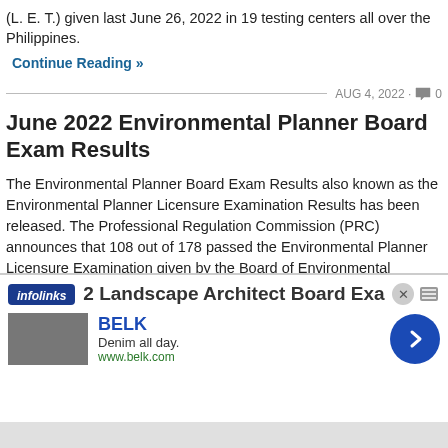(L. E. T.) given last June 26, 2022 in 19 testing centers all over the Philippines.
Continue Reading »
AUG 4, 2022 · 0
June 2022 Environmental Planner Board Exam Results
The Environmental Planner Board Exam Results also known as the Environmental Planner Licensure Examination Results has been released. The Professional Regulation Commission (PRC) announces that 108 out of 178 passed the Environmental Planner Licensure Examination given by the Board of Environmental Planning in Manila, Baguio, Cebu, Davao, Iloilo, Legazpi, Lucena and Tacloban last July 2022.
Continue Reading »
JUL 27, 2022 · 0
2 Landscape Architect Board Exam
[Figure (screenshot): Advertisement overlay: infolinks badge, BELK brand ad with 'Denim all day.' tagline and www.belk.com URL, blue arrow button, close button]
BELK
Denim all day.
www.belk.com